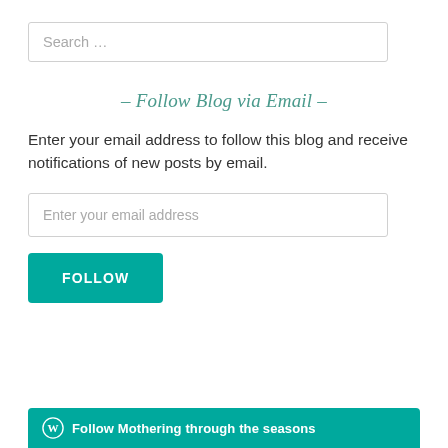Search …
– Follow Blog via Email –
Enter your email address to follow this blog and receive notifications of new posts by email.
Enter your email address
FOLLOW
Follow Mothering through the seasons